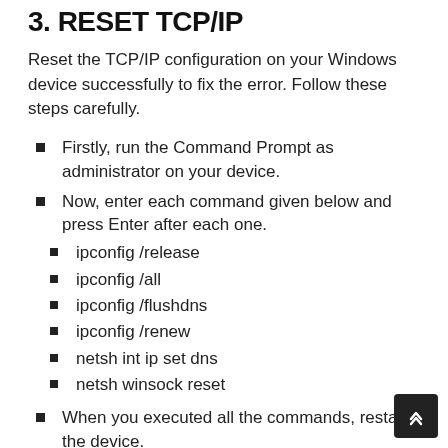3. RESET TCP/IP
Reset the TCP/IP configuration on your Windows device successfully to fix the error. Follow these steps carefully.
Firstly, run the Command Prompt as administrator on your device.
Now, enter each command given below and press Enter after each one.
ipconfig /release
ipconfig /all
ipconfig /flushdns
ipconfig /renew
netsh int ip set dns
netsh winsock reset
When you executed all the commands, restart the device.